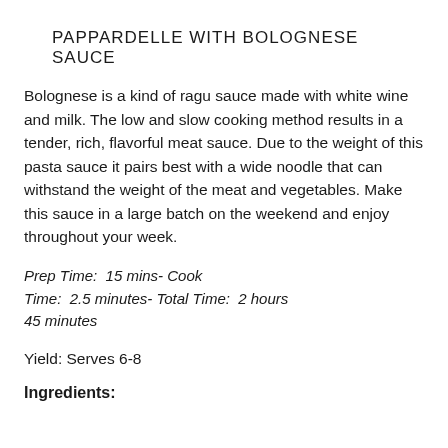PAPPARDELLE WITH BOLOGNESE SAUCE
Bolognese is a kind of ragu sauce made with white wine and milk. The low and slow cooking method results in a tender, rich, flavorful meat sauce. Due to the weight of this pasta sauce it pairs best with a wide noodle that can withstand the weight of the meat and vegetables. Make this sauce in a large batch on the weekend and enjoy throughout your week.
Prep Time:  15 mins- Cook Time:  2.5 minutes- Total Time:  2 hours 45 minutes
Yield: Serves 6-8
Ingredients: